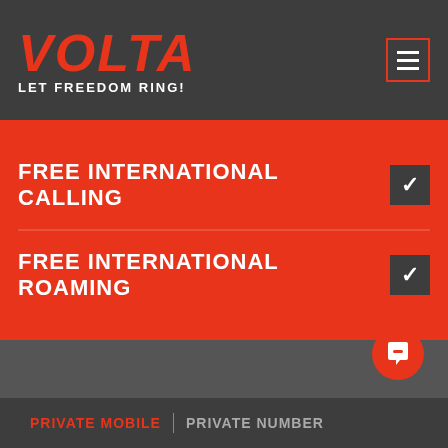[Figure (logo): VOLTA logo in red italic bold text with tagline LET FREEDOM RING! in white, plus hamburger menu icon on the right]
FREE INTERNATIONAL CALLING
FREE INTERNATIONAL ROAMING
[Figure (illustration): Chat bubble icon (white) on red circular button, positioned bottom-right of dark grey section]
PRIVATE MOBILE | PRIVATE NUMBER